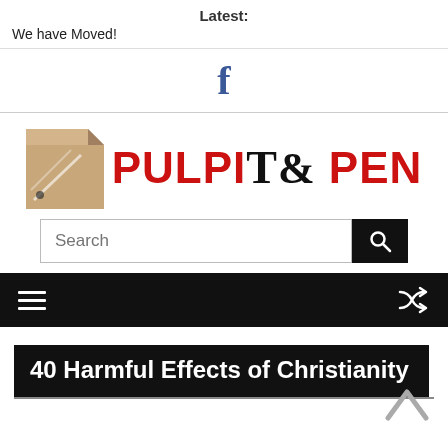Latest:
We have Moved!
[Figure (logo): Facebook 'f' logo icon in blue]
[Figure (logo): Pulpit & Pen logo with pen icon and stylized text]
Search
40 Harmful Effects of Christianity